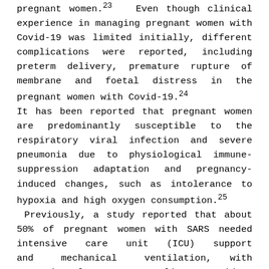pregnant women.23 Even though clinical experience in managing pregnant women with Covid-19 was limited initially, different complications were reported, including preterm delivery, premature rupture of membrane and foetal distress in the pregnant women with Covid-19.24 It has been reported that pregnant women are predominantly susceptible to the respiratory viral infection and severe pneumonia due to physiological immune-suppression adaptation and pregnancy-induced changes, such as intolerance to hypoxia and high oxygen consumption.25 Previously, a study reported that about 50% of pregnant women with SARS needed intensive care unit (ICU) support and mechanical ventilation, with approximately 25% mortality. Besides, pregnant women during the 2009 swine